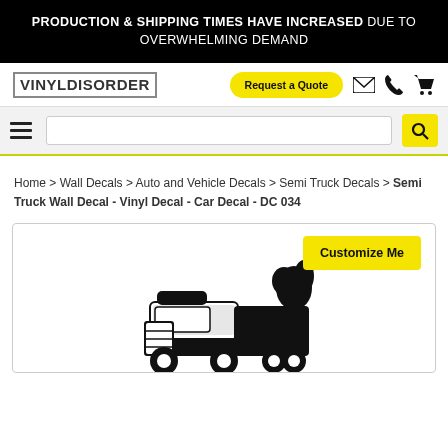PRODUCTION & SHIPPING TIMES HAVE INCREASED DUE TO OVERWHELMING DEMAND
[Figure (logo): VinylDisorder logo in styled block lettering]
Request a Quote
Search bar with hamburger menu and search button
Home > Wall Decals > Auto and Vehicle Decals > Semi Truck Decals > Semi Truck Wall Decal - Vinyl Decal - Car Decal - DC 034
[Figure (illustration): Semi truck black vinyl decal illustration with Customize Me button overlay]